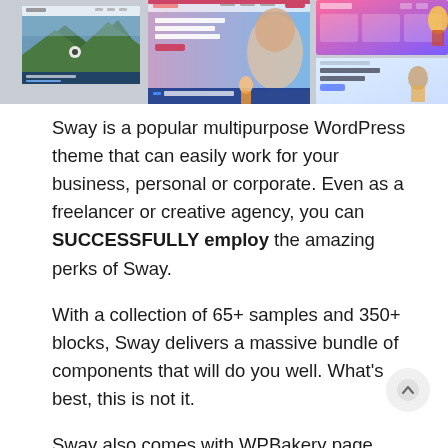[Figure (screenshot): Collage of multiple website screenshots showing a WordPress theme called Sway — includes a nature/travel site, a beauty salon site, a product landing page, and a SaaS dashboard UI.]
Sway is a popular multipurpose WordPress theme that can easily work for your business, personal or corporate. Even as a freelancer or creative agency, you can SUCCESSFULLY employ the amazing perks of Sway.

With a collection of 65+ samples and 350+ blocks, Sway delivers a massive bundle of components that will do you well. What's best, this is not it.

Sway also comes with WPBakery page builder, Slider Rev...